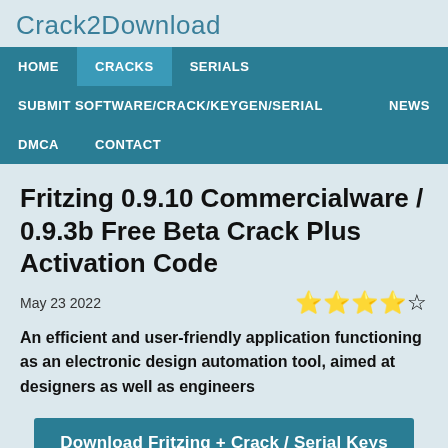Crack2Download
[Figure (screenshot): Navigation bar with links: HOME, CRACKS (active), SERIALS, SUBMIT SOFTWARE/CRACK/KEYGEN/SERIAL, NEWS, DMCA, CONTACT]
Fritzing 0.9.10 Commercialware / 0.9.3b Free Beta Crack Plus Activation Code
May 23 2022
An efficient and user-friendly application functioning as an electronic design automation tool, aimed at designers as well as engineers
Download Fritzing + Crack / Serial Keys